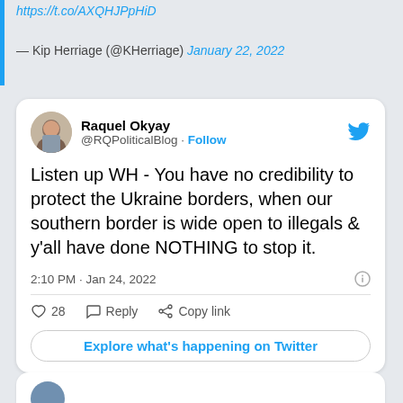https://t.co/AXQHJPpHiD
— Kip Herriage (@KHerriage) January 22, 2022
[Figure (screenshot): Embedded tweet from @RQPoliticalBlog (Raquel Okyay) with text: Listen up WH - You have no credibility to protect the Ukraine borders, when our southern border is wide open to illegals & y'all have done NOTHING to stop it. Posted 2:10 PM · Jan 24, 2022. 28 likes. Buttons: Reply, Copy link. Button: Explore what's happening on Twitter.]
[Figure (screenshot): Partial bottom of another embedded tweet card, cut off at page bottom.]